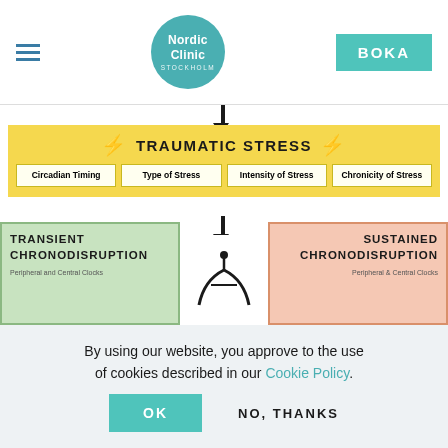Nordic Clinic Stockholm — BOKA
[Figure (flowchart): Medical flowchart showing TRAUMATIC STRESS leading to ACUTE CHRONODISRUPTION, which branches into TRANSIENT CHRONODISRUPTION and SUSTAINED CHRONODISRUPTION. Traumatic Stress box includes four factors: Circadian Timing, Type of Stress, Intensity of Stress, Chronicity of Stress. Acute Chronodisruption subtitle: hGR-related Phase Shift after Stress Exposure.]
By using our website, you approve to the use of cookies described in our Cookie Policy.
OK
NO, THANKS